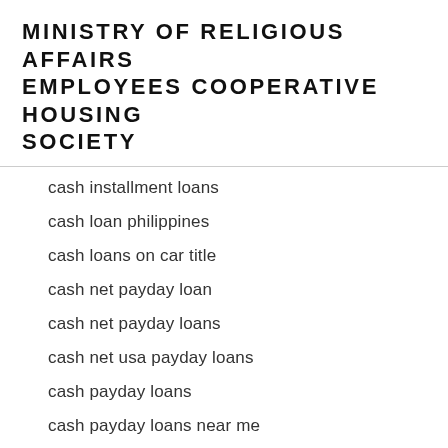MINISTRY OF RELIGIOUS AFFAIRS EMPLOYEES COOPERATIVE HOUSING SOCIETY
cash installment loans
cash loan philippines
cash loans on car title
cash net payday loan
cash net payday loans
cash net usa payday loans
cash payday loans
cash payday loans near me
cash title loans
cash title loans near me